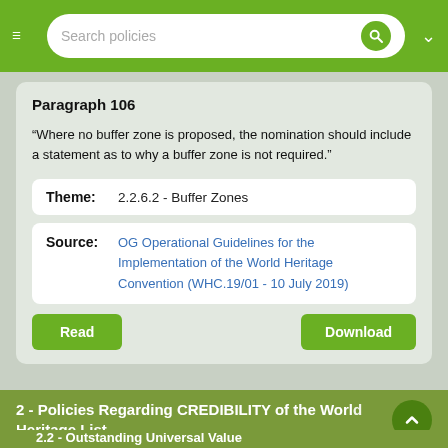Search policies
Paragraph 106
“Where no buffer zone is proposed, the nomination should include a statement as to why a buffer zone is not required.”
Theme: 2.2.6.2 - Buffer Zones
Source: OG Operational Guidelines for the Implementation of the World Heritage Convention (WHC.19/01 - 10 July 2019)
Read
Download
2 - Policies Regarding CREDIBILITY of the World Heritage List
2.2 - Outstanding Universal Value